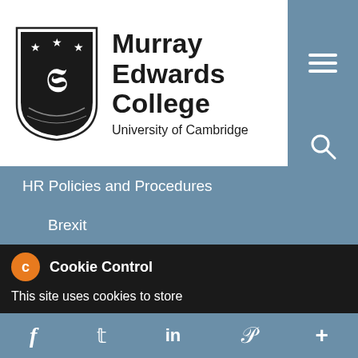[Figure (logo): Murray Edwards College, University of Cambridge logo with shield/crest and college name]
HR Policies and Procedures
Brexit
Equal Opportunities
Volunteer Policy
Operational Policies and Procedures
Allergens & Dietary Requests
Anti-Bribery Policy
CCTV Code of Practice
Cookie Control  ×
This site uses cookies to store
f  t  in  P  +